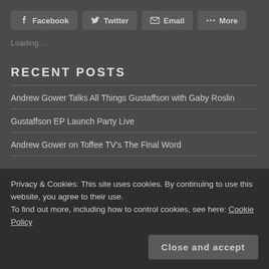Facebook
Twitter
Email
More
Loading…
RECENT POSTS
Andrew Gower Talks All Things Gustaffson with Gaby Roslin
Gustaffson EP Launch Party Live
Andrew Gower on Toffee TV's The Final Word
Tales of Carnival Row Kickstarter Campaign & What It
Privacy & Cookies: This site uses cookies. By continuing to use this website, you agree to their use.
To find out more, including how to control cookies, see here: Cookie Policy
Close and accept